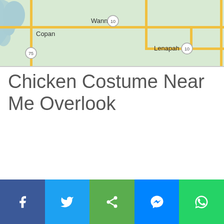[Figure (map): Google Maps style road map showing towns Copan, Wann, and Lenapah in Oklahoma with highway routes 75, 10 marked. Light green terrain with yellow roads.]
Chicken Costume Near Me Overlook
[Figure (infographic): Social media share bar at bottom with Facebook, Twitter, Share, Messenger, and WhatsApp buttons]